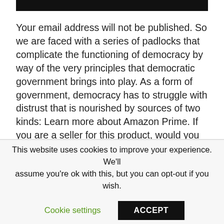Your email address will not be published. So we are faced with a series of padlocks that complicate the functioning of democracy by way of the very principles that democratic government brings into play. As a form of government, democracy has to struggle with distrust that is nourished by sources of two kinds: Learn more about Amazon Prime. If you are a seller for this product, would you like to suggest updates through seller support? They are
This website uses cookies to improve your experience. We'll assume you're ok with this, but you can opt-out if you wish.
Cookie settings
ACCEPT